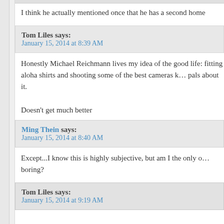I think he actually mentioned once that he has a second home
Tom Liles says:
January 15, 2014 at 8:39 AM
Honestly Michael Reichmann lives my idea of the good life: fitting aloha shirts and shooting some of the best cameras known to man, telling his pals about it.

Doesn't get much better
Ming Thein says:
January 15, 2014 at 8:40 AM
Except...I know this is highly subjective, but am I the only one who finds his work boring?
Tom Liles says:
January 15, 2014 at 9:19 AM